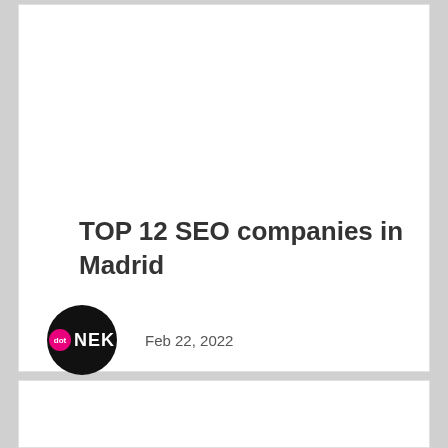TOP 12 SEO companies in Madrid
Feb 22, 2022